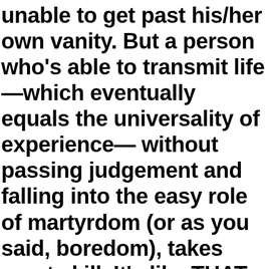unable to get past his/her own vanity. But a person who's able to transmit life —which eventually equals the universality of experience— without passing judgement and falling into the easy role of martyrdom (or as you said, boredom), takes great skill. It's like THAT rare memoir you actually want to keep reading because for once its author isn't predictably over-sentimental or conceited.